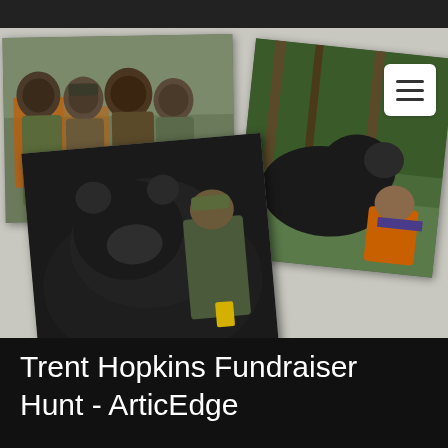[Figure (photo): Collage of three hunting photos on a gray textured background: top-left shows a group of four hunters in camouflage and orange vests with face paint; top-right shows a hunter in orange vest kneeling next to a large black bear in a wooded area; center-bottom shows a close-up photo of a hunter in camouflage holding a large black bear.]
Trent Hopkins Fundraiser Hunt - ArticEdge